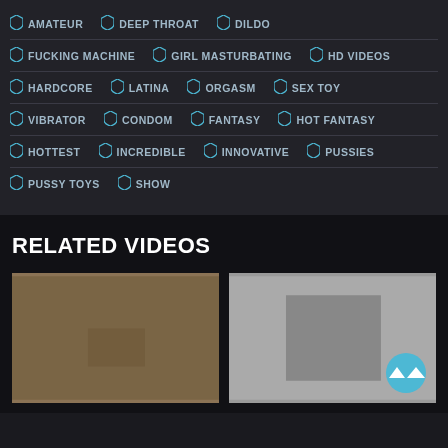AMATEUR
DEEP THROAT
DILDO
FUCKING MACHINE
GIRL MASTURBATING
HD VIDEOS
HARDCORE
LATINA
ORGASM
SEX TOY
VIBRATOR
CONDOM
FANTASY
HOT FANTASY
HOTTEST
INCREDIBLE
INNOVATIVE
PUSSIES
PUSSY TOYS
SHOW
RELATED VIDEOS
[Figure (photo): Two video thumbnails side by side showing adult content]
[Figure (photo): Right video thumbnail with scroll-to-top button overlay]